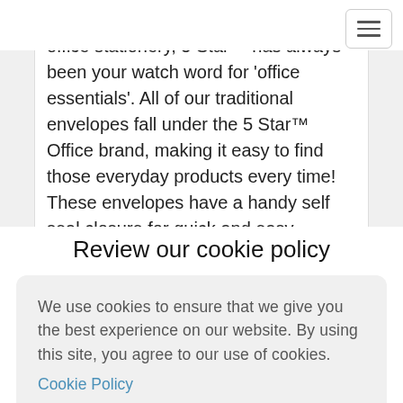With our comprehensive range of office stationery, 5 Star™ has always been your watch word for 'office essentials'. All of our traditional envelopes fall under the 5 Star™ Office brand, making it easy to find those everyday products every time! These envelopes have a handy self seal closure for quick and easy fastening. They are pocket opening; meaning that they open along their shorter side for quicker access. It is PEFC certified, therefore helping to reduce the impact on the
Review our cookie policy
We use cookies to ensure that we give you the best experience on our website. By using this site, you agree to our use of cookies. Cookie Policy